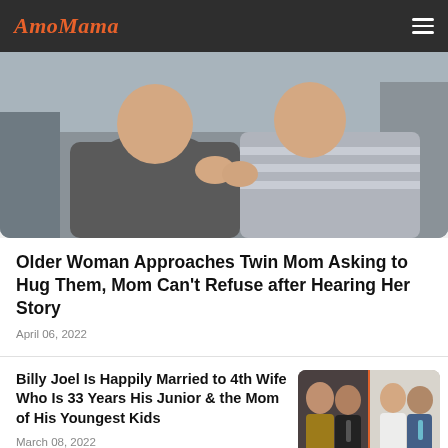AmoMama
[Figure (photo): Two young children facing each other near the back of a car, one wearing a gray striped shirt and the other a gray sweater with teal collar detail]
Older Woman Approaches Twin Mom Asking to Hug Them, Mom Can't Refuse after Hearing Her Story
April 06, 2022
Billy Joel Is Happily Married to 4th Wife Who Is 33 Years His Junior & the Mom of His Youngest Kids
March 08, 2022
[Figure (photo): Two side-by-side photos of Billy Joel with a young woman — one at a formal event and one at a wedding]